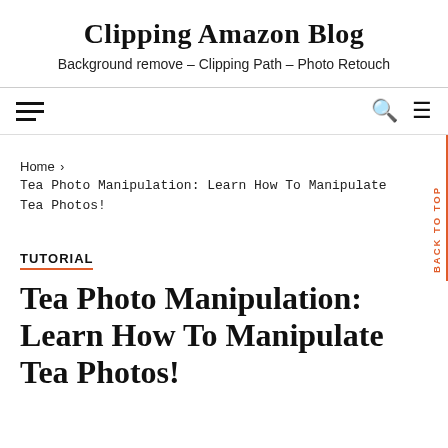Clipping Amazon Blog
Background remove – Clipping Path – Photo Retouch
☰  🔍 ≡
Home › Tea Photo Manipulation: Learn How To Manipulate Tea Photos!
TUTORIAL
Tea Photo Manipulation: Learn How To Manipulate Tea Photos!